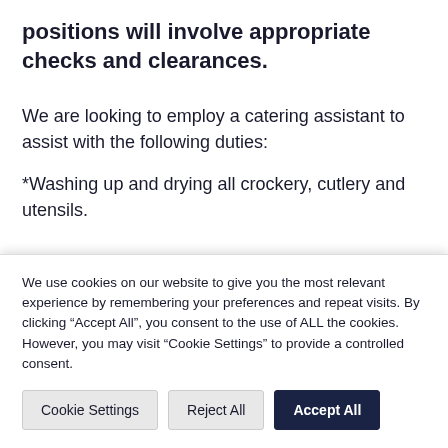positions will involve appropriate checks and clearances.
We are looking to employ a catering assistant to assist with the following duties:
*Washing up and drying all crockery, cutlery and utensils.
[partial line visible, clipped]
We use cookies on our website to give you the most relevant experience by remembering your preferences and repeat visits. By clicking “Accept All”, you consent to the use of ALL the cookies. However, you may visit "Cookie Settings" to provide a controlled consent.